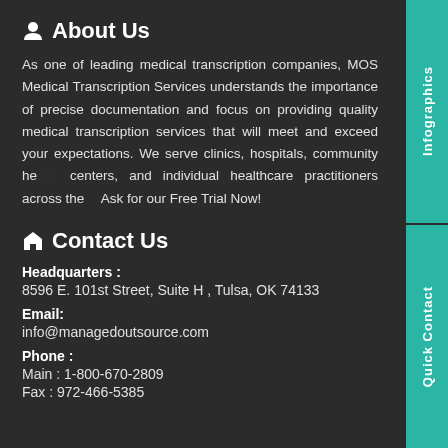About Us
As one of leading medical transcription companies, MOS Medical Transcription Services understands the importance of precise documentation and focus on providing quality medical transcription services that will meet and exceed your expectations. We serve clinics, hospitals, community health centers, and individual healthcare practitioners across the US. Ask for our Free Trial Now!
Contact Us
Headquarters :
8596 E. 101st Street, Suite H , Tulsa, OK 74133
Email:
info@managedoutsource.com
Phone :
Main : 1-800-670-2809
Fax : 972-466-5385
[Figure (infographic): Teal vertical sidebar tab on right side with text 'Infographics' rotated vertically]
[Figure (infographic): Teal vertical sidebar tab on right side with text 'Quick Contact' rotated vertically]